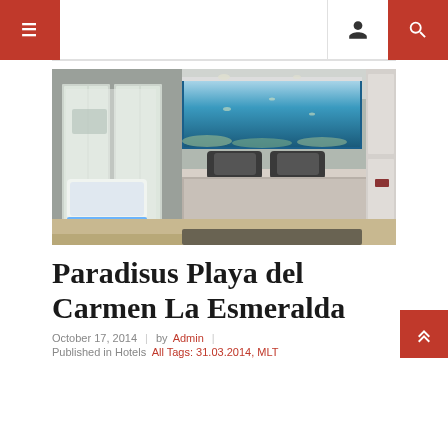≡  [user icon]  [search icon]
[Figure (photo): Luxury hotel room with a large bed featuring grey bedding, an illuminated underwater ocean scene as a headboard artwork, frosted glass sliding doors leading to a bright bathroom with a freestanding white bathtub with blue LED lighting underneath, modern white furniture and walls, and soft ceiling lighting.]
Paradisus Playa del Carmen La Esmeralda
October 17, 2014  |  by Admin  |
Published in Hotels  All Tags: 31.03.2014, MLT